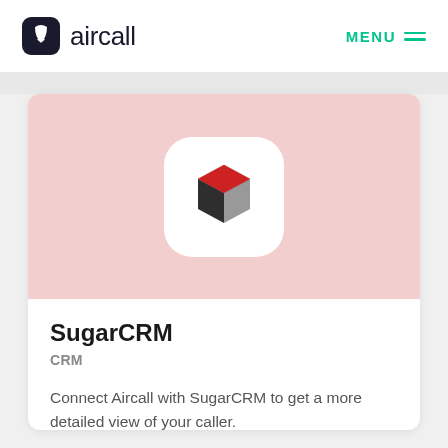aircall  MENU
[Figure (logo): SugarCRM logo: a 3D cube with a red top face and dark gray/light gray side faces, displayed inside a white rounded-square badge on a pink/rose background]
SugarCRM
CRM
Connect Aircall with SugarCRM to get a more detailed view of your caller.